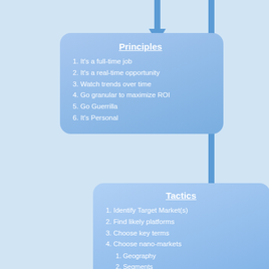[Figure (flowchart): Flowchart with two rounded rectangle boxes connected by arrows. Top box labeled 'Principles' with 6 numbered items. Bottom box labeled 'Tactics' with 5+ numbered items including sub-items. Arrows flow downward from top to first box, along right side down, and continue down the left of the second box.]
Principles
1. It's a full-time job
2. It's a real-time opportunity
3. Watch trends over time
4. Go granular to maximize ROI
5. Go Guerrilla
6. It's Personal
Tactics
1. Identify Target Market(s)
2. Find likely platforms
3. Choose key terms
4. Choose nano-markets
1. Geography
2. Segments
5. Know Your Purpose?